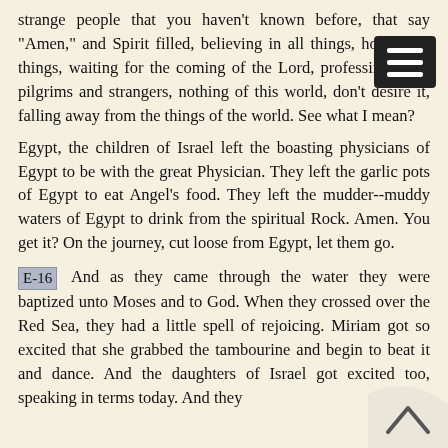strange people that you haven't known before, that say "Amen," and Spirit filled, believing in all things, hoping all things, waiting for the coming of the Lord, professing to be pilgrims and strangers, nothing of this world, don't desire it, falling away from the things of the world. See what I mean?
Egypt, the children of Israel left the boasting physicians of Egypt to be with the great Physician. They left the garlic pots of Egypt to eat Angel's food. They left the mudder--muddy waters of Egypt to drink from the spiritual Rock. Amen. You get it? On the journey, cut loose from Egypt, let them go.
E-16 And as they came through the water they were baptized unto Moses and to God. When they crossed over the Red Sea, they had a little spell of rejoicing. Miriam got so excited that she grabbed the tambourine and begin to beat it and dance. And the daughters of Israel got excited too, speaking in terms today. And they